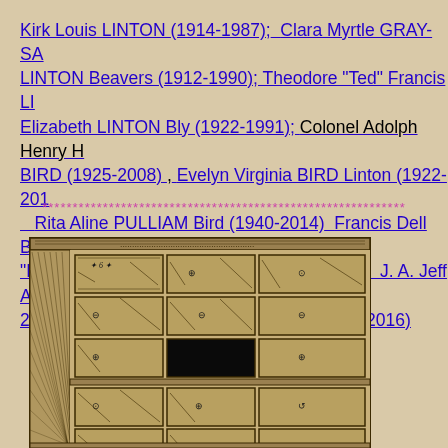Kirk Louis LINTON (1914-1987);  Clara Myrtle GRAY-SADLER LINTON Beavers (1912-1990); Theodore "Ted" Francis LI... Elizabeth LINTON Bly (1922-1991); Colonel Adolph Henry H... BIRD (1925-2008) , Evelyn Virginia BIRD Linton (1922-201... Rita Aline PULLIAM Bird (1940-2014)  Francis Dell BIRD... "Bernie" Thelma LINTON Butler (1921-2014);  J. A. Jeff Au... 2015); Franklin Delano "Buddy" BIRD (1934-2016)
************************************************************
[Figure (illustration): Illustration of an old-fashioned wooden card catalog cabinet with multiple rows of labeled drawers, shown in a vintage engraving style.]